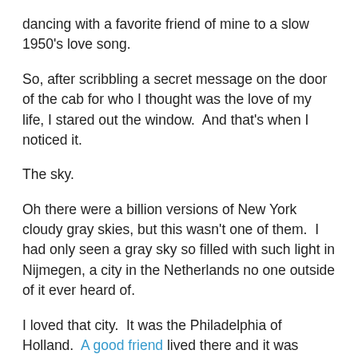dancing with a favorite friend of mine to a slow 1950's love song.
So, after scribbling a secret message on the door of the cab for who I thought was the love of my life, I stared out the window.  And that's when I noticed it.
The sky.
Oh there were a billion versions of New York cloudy gray skies, but this wasn't one of them.  I had only seen a gray sky so filled with such light in Nijmegen, a city in the Netherlands no one outside of it ever heard of.
I loved that city.  It was the Philadelphia of Holland.  A good friend lived there and it was where I'd go to escape what seemed like unending unhappiness. And although I may not have known how to pronounce any of the street names in Nijmegen, I knew how to find my favorite little corners.
I was so happy, staring out that window, to be some place else, if only for a brief second, that wasn't filled with self